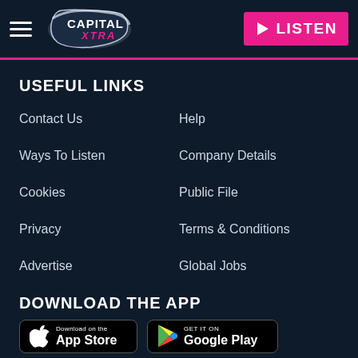Capital Xtra — LISTEN
USEFUL LINKS
Contact Us
Help
Ways To Listen
Company Details
Cookies
Public File
Privacy
Terms & Conditions
Advertise
Global Jobs
DOWNLOAD THE APP
[Figure (screenshot): Download on the App Store badge]
[Figure (screenshot): Get it on Google Play badge]